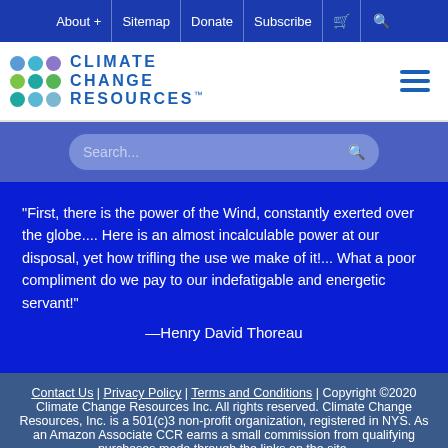About + | Sitemap | Donate | Subscribe | [cart] | [search]
[Figure (logo): Climate Change Resources logo with colored dots grid and text 'CLIMATE CHANGE RESOURCES™']
Search...
"First, there is the power of the Wind, constantly exerted over the globe.... Here is an almost incalculable power at our disposal, yet how trifling the use we make of it!... What a poor compliment do we pay to our indefatigable and energetic servant!" —Henry David Thoreau
Contact Us | Privacy Policy | Terms and Conditions | Copyright ©2020 Climate Change Resources Inc. All rights reserved. Climate Change Resources, Inc. is a 501(c)3 non-profit organization, registered in NYS. As an Amazon Associate CCR earns a small commission from qualifying purchases made through the links on the site.